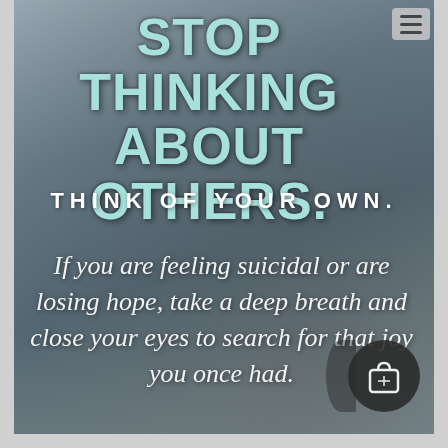STOP THINKING ABOUT OTHERS.
THINK OF YOUR OWN.
If you are feeling suicidal or are losing hope, take a deep breath and close your eyes to search for that joy you once had.
[Figure (other): Shopping bag icon in dark circle, bottom right corner overlay]
[Figure (other): Hamburger menu icon top right corner]